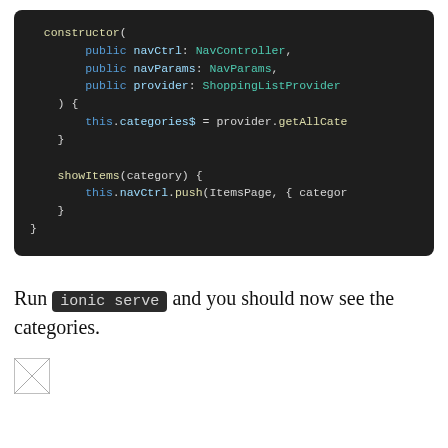[Figure (screenshot): Dark-themed code editor screenshot showing TypeScript constructor and showItems method with syntax highlighting]
Run ionic serve and you should now see the categories.
[Figure (photo): Small broken/placeholder image icon]